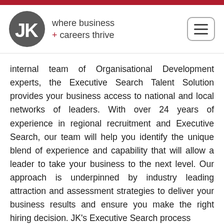[Figure (logo): JK logo — dark grey circle with white JK letters, beside tagline 'where business + careers thrive' and a hamburger menu icon]
internal team of Organisational Development experts, the Executive Search Talent Solution provides your business access to national and local networks of leaders. With over 24 years of experience in regional recruitment and Executive Search, our team will help you identify the unique blend of experience and capability that will allow a leader to take your business to the next level. Our approach is underpinned by industry leading attraction and assessment strategies to deliver your business results and ensure you make the right hiring decision. JK's Executive Search process